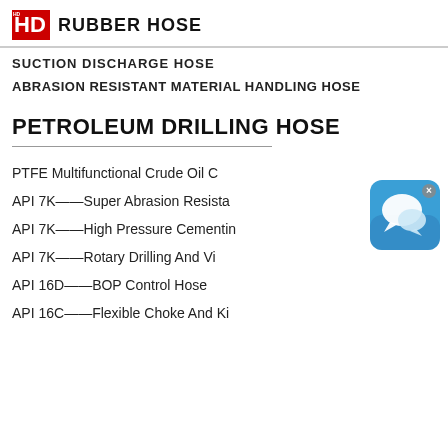HD RUBBER HOSE
SUCTION DISCHARGE HOSE
ABRASION RESISTANT MATERIAL HANDLING HOSE
PETROLEUM DRILLING HOSE
[Figure (illustration): Blue chat/message app icon with two speech bubbles, with a small x close button in the top right corner]
PTFE Multifunctional Crude Oil C
API 7K——Super Abrasion Resista
API 7K——High Pressure Cementin
API 7K——Rotary Drilling And Vi
API 16D——BOP Control Hose
API 16C——Flexible Choke And Ki